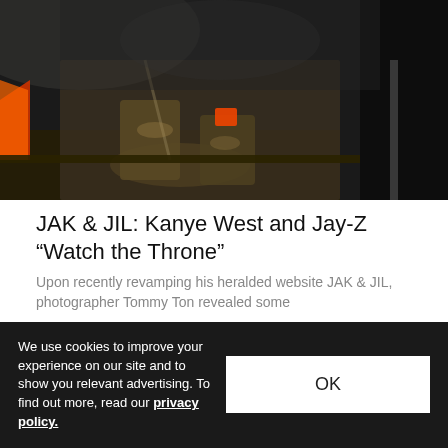[Figure (photo): Dark photo of a person seated with boots visible, shot from below, theatrical lighting with orange elements in background.]
JAK & JIL: Kanye West and Jay-Z "Watch the Throne"
Upon recently revamping his heralded website JAK & JIL, photographer Tommy Ton revealed some
Music  Dec 17, 2011  🔥 251  💬 0
[Figure (photo): Dark, blurry background image with white/light textural elements, appears to be motion or rain.]
We use cookies to improve your experience on our site and to show you relevant advertising. To find out more, read our privacy policy.